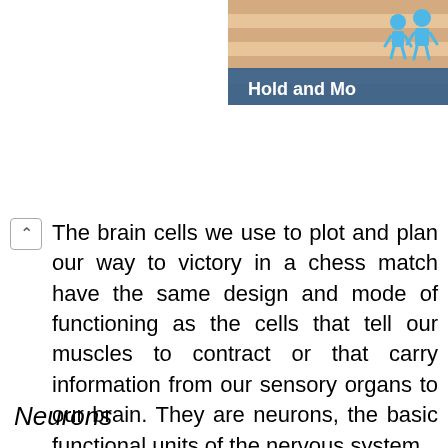[Figure (screenshot): Partial screenshot of an interactive educational element showing a colorful graphic with figures and the text 'Hold and Mo...' (Hold and Move) in the upper right corner.]
The brain cells we use to plot and plan our way to victory in a chess match have the same design and mode of functioning as the cells that tell our muscles to contract or that carry information from our sensory organs to our brain. They are neurons, the basic functional units of the nervous system.
Neurons